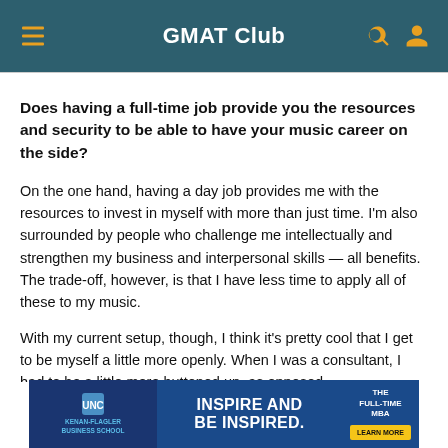GMAT Club
Does having a full-time job provide you the resources and security to be able to have your music career on the side?
On the one hand, having a day job provides me with the resources to invest in myself with more than just time. I'm also surrounded by people who challenge me intellectually and strengthen my business and interpersonal skills — all benefits. The trade-off, however, is that I have less time to apply all of these to my music.
With my current setup, though, I think it's pretty cool that I get to be myself a little more openly. When I was a consultant, I had to be a little more buttoned up, as opposed
[Figure (infographic): UNC Kenan-Flagler Business School advertisement banner: 'INSPIRE AND BE INSPIRED. THE FULL-TIME MBA. LEARN MORE']